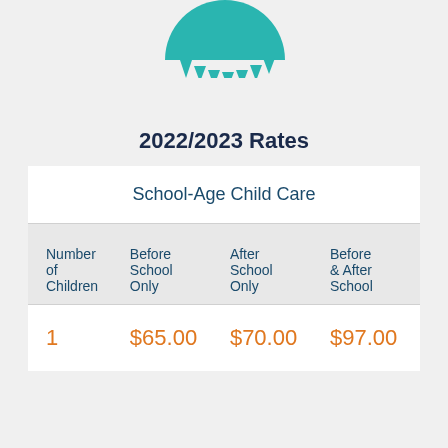[Figure (logo): Teal sun/semicircle logo with triangular rays along the bottom edge]
2022/2023 Rates
| Number of Children | Before School Only | After School Only | Before & After School |
| --- | --- | --- | --- |
| 1 | $65.00 | $70.00 | $97.00 |